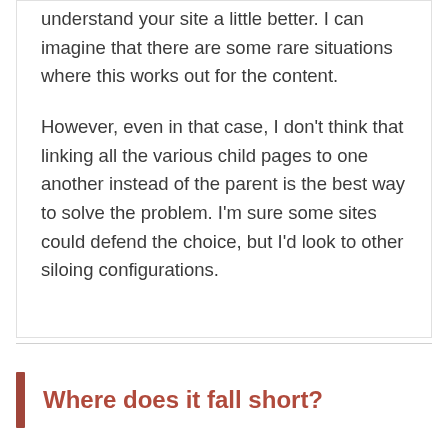understand your site a little better. I can imagine that there are some rare situations where this works out for the content.
However, even in that case, I don't think that linking all the various child pages to one another instead of the parent is the best way to solve the problem. I'm sure some sites could defend the choice, but I'd look to other siloing configurations.
Where does it fall short?